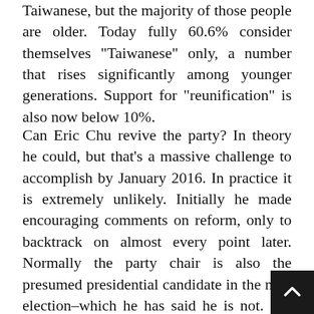Taiwanese, but the majority of those people are older. Today fully 60.6% consider themselves "Taiwanese" only, a number that rises significantly among younger generations. Support for "reunification" is also now below 10%.
Can Eric Chu revive the party? In theory he could, but that's a massive challenge to accomplish by January 2016. In practice it is extremely unlikely. Initially he made encouraging comments on reform, only to backtrack on almost every point later. Normally the party chair is also the presumed presidential candidate in the next election–which he has said he is not. His relationship with his predecessor and the current president puts him in a quandary. If he works hard to have a smooth